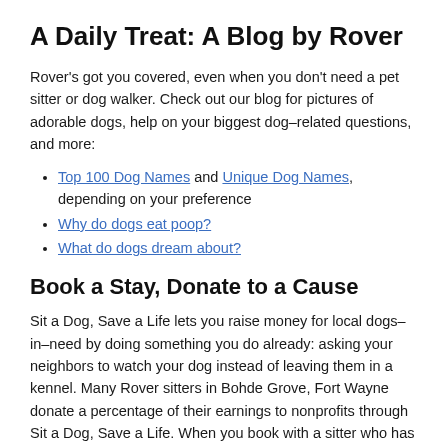A Daily Treat: A Blog by Rover
Rover's got you covered, even when you don't need a pet sitter or dog walker. Check out our blog for pictures of adorable dogs, help on your biggest dog–related questions, and more:
Top 100 Dog Names and Unique Dog Names, depending on your preference
Why do dogs eat poop?
What do dogs dream about?
Book a Stay, Donate to a Cause
Sit a Dog, Save a Life lets you raise money for local dogs–in–need by doing something you do already: asking your neighbors to watch your dog instead of leaving them in a kennel. Many Rover sitters in Bohde Grove, Fort Wayne donate a percentage of their earnings to nonprofits through Sit a Dog, Save a Life. When you book with a sitter who has the Rover Donation Badge on their profile, you're helping dogs in need, right here in Fort Wayne.
We're proud to support over 200 organizations across the